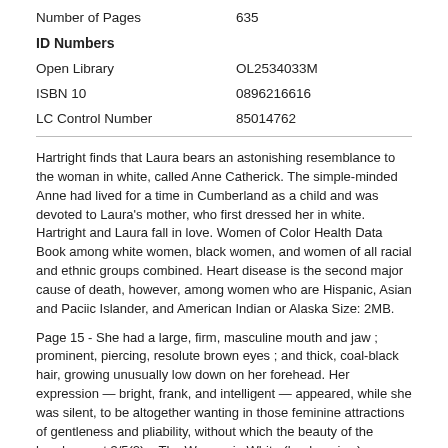Number of Pages    635
ID Numbers
Open Library    OL2534033M
ISBN 10    0896216616
LC Control Number    85014762
Hartright finds that Laura bears an astonishing resemblance to the woman in white, called Anne Catherick. The simple-minded Anne had lived for a time in Cumberland as a child and was devoted to Laura's mother, who first dressed her in white. Hartright and Laura fall in love. Women of Color Health Data Book among white women, black women, and women of all racial and ethnic groups combined. Heart disease is the second major cause of death, however, among women who are Hispanic, Asian and Paciic Islander, and American Indian or Alaska Size: 2MB.
Page 15 - She had a large, firm, masculine mouth and jaw ; prominent, piercing, resolute brown eyes ; and thick, coal-black hair, growing unusually low down on her forehead. Her expression — bright, frank, and intelligent — appeared, while she was silent, to be altogether wanting in those feminine attractions of gentleness and pliability, without which the beauty of the handsomest 3/5(2).   The Woman in White (book review) - Duration: Quiet as Mouse views. Book Recommendations for LGBT History Month - .